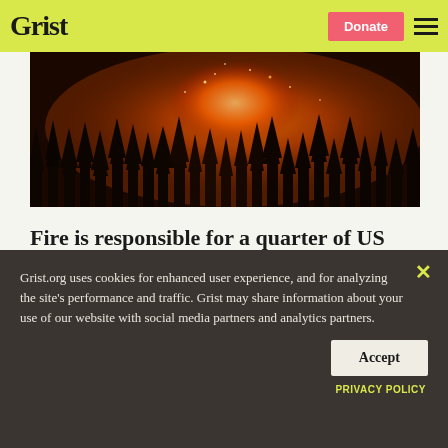Grist
[Figure (photo): Wildfire burning through a forested hillside at night, showing bright orange flames and silhouetted trees against a dark smoky sky.]
Fire is responsible for a quarter of US forest loss since 2021
Jessie Blaeser
Grist.org uses cookies for enhanced user experience, and for analyzing the site's performance and traffic. Grist may share information about your use of our website with social media partners and analytics partners.